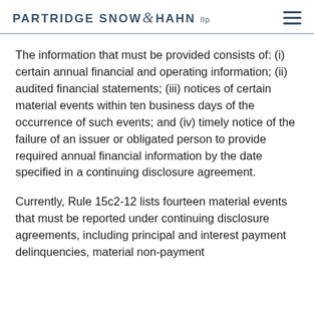PARTRIDGE SNOW & HAHN LLP
The information that must be provided consists of: (i) certain annual financial and operating information; (ii) audited financial statements; (iii) notices of certain material events within ten business days of the occurrence of such events; and (iv) timely notice of the failure of an issuer or obligated person to provide required annual financial information by the date specified in a continuing disclosure agreement.
Currently, Rule 15c2-12 lists fourteen material events that must be reported under continuing disclosure agreements, including principal and interest payment delinquencies, material non-payment